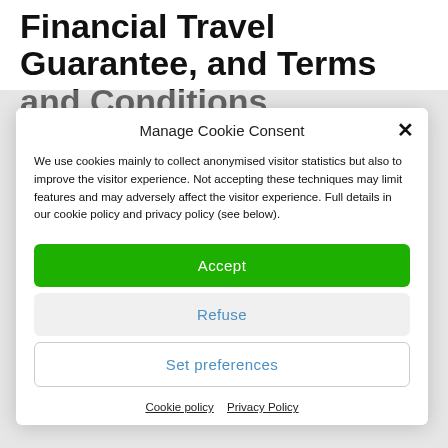Financial Travel Guarantee, and Terms and Conditions
Manage Cookie Consent
We use cookies mainly to collect anonymised visitor statistics but also to improve the visitor experience. Not accepting these techniques may limit features and may adversely affect the visitor experience. Full details in our cookie policy and privacy policy (see below).
Accept
Refuse
Set preferences
Cookie policy   Privacy Policy